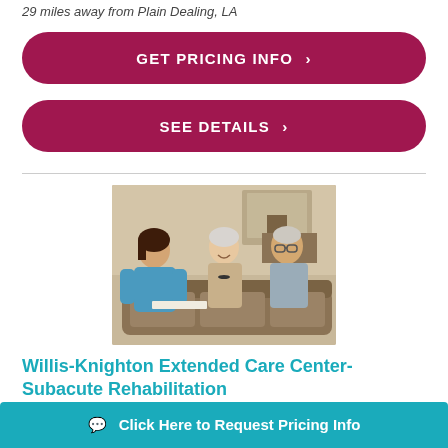29 miles away from Plain Dealing, LA
GET PRICING INFO ›
SEE DETAILS ›
[Figure (photo): Caregiver consulting with elderly couple seated on a sofa, reviewing documents together]
Willis-Knighton Extended Care Center-Subacute Rehabilitation
2
S
Click Here to Request Pricing Info